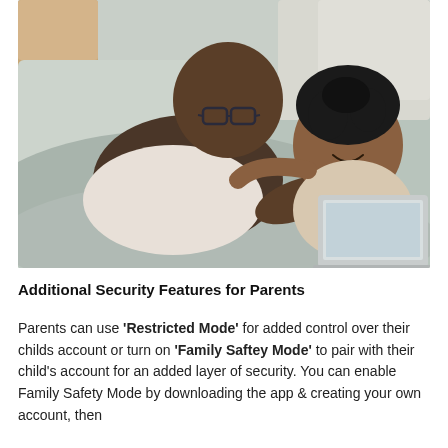[Figure (photo): A father and child lying on a bed, both smiling and looking at a laptop screen together. The father is wearing glasses and a white t-shirt, the child has curly hair and is wearing a beige top. They are covered by light grey bedding.]
Additional Security Features for Parents
Parents can use 'Restricted Mode' for added control over their childs account or turn on 'Family Saftey Mode' to pair with their child's account for an added layer of security. You can enable Family Safety Mode by downloading the app & creating your own account, then